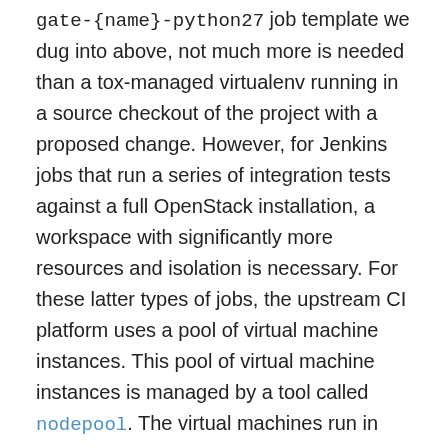gate-{name}-python27 job template we dug into above, not much more is needed than a tox-managed virtualenv running in a source checkout of the project with a proposed change. However, for Jenkins jobs that run a series of integration tests against a full OpenStack installation, a workspace with significantly more resources and isolation is necessary. For these latter types of jobs, the upstream CI platform uses a pool of virtual machine instances. This pool of virtual machine instances is managed by a tool called nodepool. The virtual machines run in both HP Cloud and Rackspace Cloud, who graciously donate these instances for the upstream CI system to use. You can see the configuration of the Nodepool-managed set of instances here.